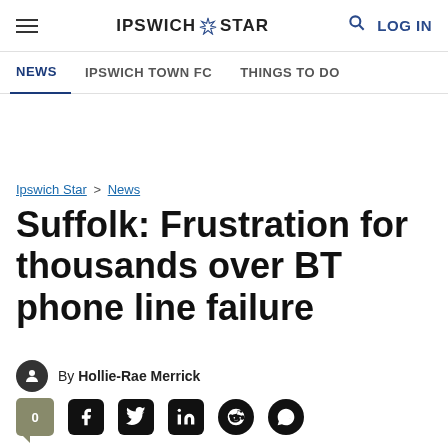Ipswich Star — NEWS | IPSWICH TOWN FC | THINGS TO DO
Ipswich Star > News
Suffolk: Frustration for thousands over BT phone line failure
By Hollie-Rae Merrick